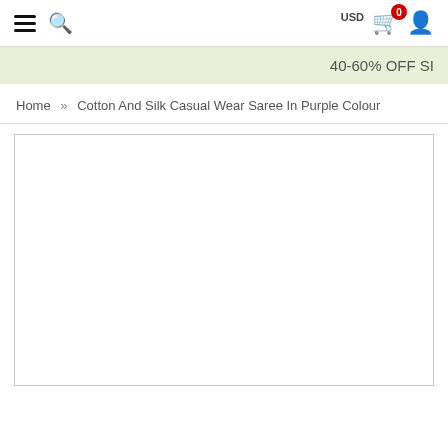Navigation bar with hamburger menu, search icon, USD currency, cart (0 items), user icon
40-60% OFF SI
Home » Cotton And Silk Casual Wear Saree In Purple Colour
[Figure (photo): Product image area — white rectangle placeholder for Cotton And Silk Casual Wear Saree In Purple Colour]